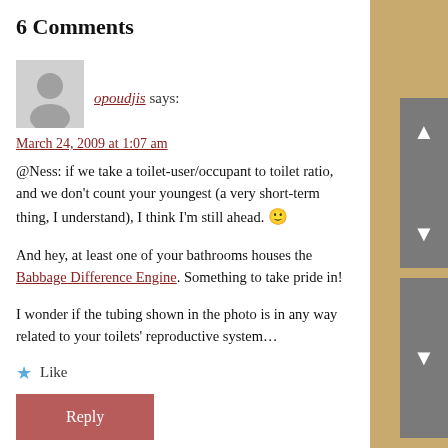6 Comments
opoudjis says:
March 24, 2009 at 1:07 am
@Ness: if we take a toilet-user/occupant to toilet ratio, and we don't count your youngest (a very short-term thing, I understand), I think I'm still ahead. 🙂
And hey, at least one of your bathrooms houses the Babbage Difference Engine. Something to take pride in!
I wonder if the tubing shown in the photo is in any way related to your toilets' reproductive system…
Like
Reply